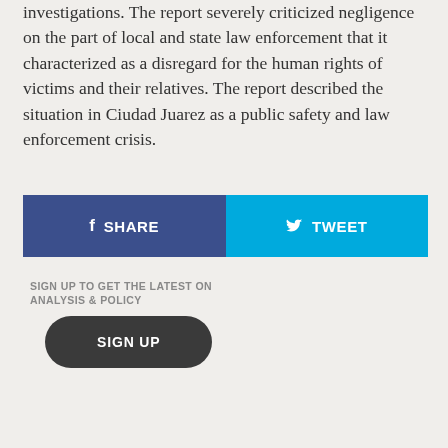investigations. The report severely criticized negligence on the part of local and state law enforcement that it characterized as a disregard for the human rights of victims and their relatives. The report described the situation in Ciudad Juarez as a public safety and law enforcement crisis.
[Figure (other): Social share buttons: Facebook SHARE (dark blue) and Twitter TWEET (light blue)]
SIGN UP TO GET THE LATEST ON ANALYSIS & POLICY
SIGN UP